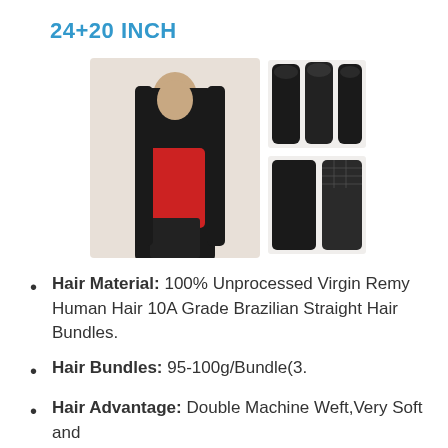24+20 INCH
[Figure (photo): Product photo showing a woman with long straight black hair wearing a red top, alongside images of three hair bundles and a lace closure piece]
Hair Material: 100% Unprocessed Virgin Remy Human Hair 10A Grade Brazilian Straight Hair Bundles.
Hair Bundles: 95-100g/Bundle(3.
Hair Advantage: Double Machine Weft,Very Soft and